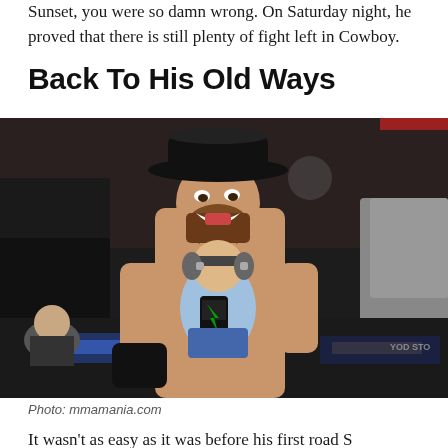Sunset, you were so damn wrong. On Saturday night, he proved that there is still plenty of fight left in Cowboy.
Back To His Old Ways
[Figure (photo): A shirtless MMA fighter wearing a black cowboy hat, smiling and holding a baby wearing headphones and holding a Monster Energy drink can, celebrating after a fight in the UFC octagon. Officials and crowd visible in background.]
Photo: mmamania.com
It wasn't as easy as it was before his first road S...